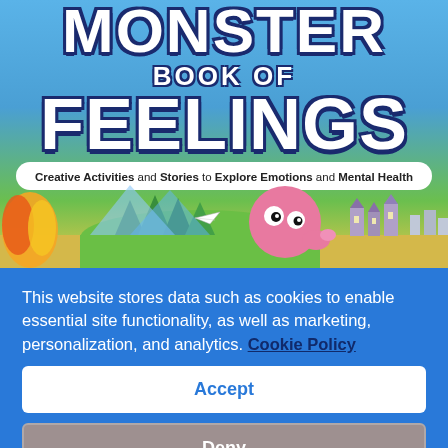[Figure (illustration): Book cover of 'Monster Book of Feelings' showing large cartoon text title, a pink round furry monster character, a paper airplane, fire/trees/mountains scene on the left, and a castle/city scene on the right, on a blue sky background.]
This website stores data such as cookies to enable essential site functionality, as well as marketing, personalization, and analytics. Cookie Policy
Accept
Deny